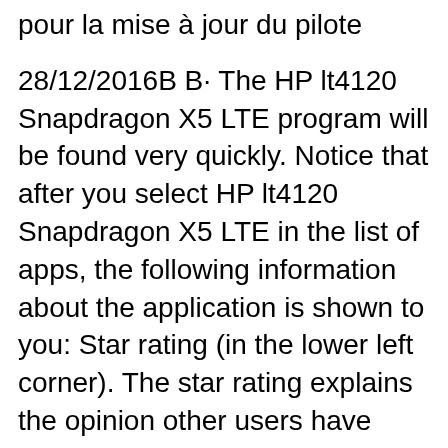pour la mise à jour du pilote
28/12/2016B B· The HP lt4120 Snapdragon X5 LTE program will be found very quickly. Notice that after you select HP lt4120 Snapdragon X5 LTE in the list of apps, the following information about the application is shown to you: Star rating (in the lower left corner). The star rating explains the opinion other users have about HP lt4120 Snapdragon X5 LTE Is there any user's guide and/or tech docs on the HP LT4120 Snapdragon X5 LTE module? We're running into driver issues when installing it on our Elite X2 1012 G1 tablets. We'd like to understand the proper steps and procedures when